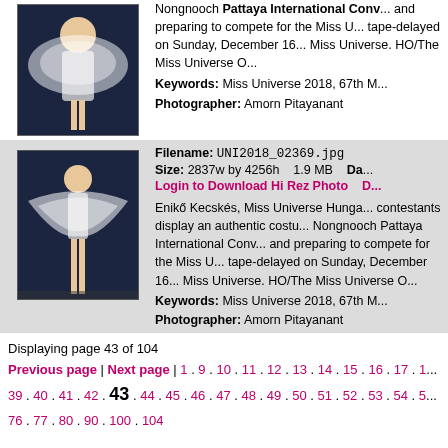Nongnooch Pattaya International Conv... and preparing to compete for the Miss U... tape-delayed on Sunday, December 16... Miss Universe. HO/The Miss Universe O...
Keywords: Miss Universe 2018, 67th M...
Photographer: Amorn Pitayanant
[Figure (photo): Woman in white costume on dark stage, top photo]
Filename: UNI2018_02369.jpg
Size: 2837w by 4256h   1.9 MB   Da...
Login to Download Hi Rez Photo
[Figure (photo): Enikő Kecskés, Miss Universe Hungary contestant in white costume on dark stage]
Enikő Kecskés, Miss Universe Hunga... contestants display an authentic costu... Nongnooch Pattaya International Conv... and preparing to compete for the Miss U... tape-delayed on Sunday, December 16... Miss Universe. HO/The Miss Universe O...
Keywords: Miss Universe 2018, 67th M...
Photographer: Amorn Pitayanant
Displaying page 43 of 104
Previous page | Next page | 1 . 9 . 10 . 11 . 12 . 13 . 14 . 15 . 16 . 17 . 1... 39 . 40 . 41 . 42 . 43 . 44 . 45 . 46 . 47 . 48 . 49 . 50 . 51 . 52 . 53 . 54 . 5... 76 . 77 . 80 . 90 . 100 . 104